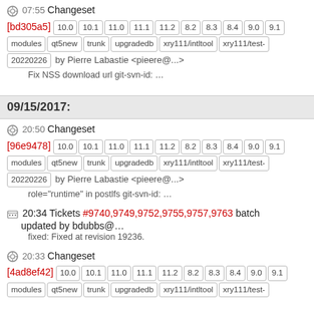07:55 Changeset [bd305a5] 10.0 10.1 11.0 11.1 11.2 8.2 8.3 8.4 9.0 9.1 modules qt5new trunk upgradedb xry111/intltool xry111/test-20220226 by Pierre Labastie <pieere@...>
Fix NSS download url git-svn-id: ...
09/15/2017:
20:50 Changeset [96e9478] 10.0 10.1 11.0 11.1 11.2 8.2 8.3 8.4 9.0 9.1 modules qt5new trunk upgradedb xry111/intltool xry111/test-20220226 by Pierre Labastie <pieere@...>
role="runtime" in postlfs git-svn-id: ...
20:34 Tickets #9740,9749,9752,9755,9757,9763 batch updated by bdubbs@...
fixed: Fixed at revision 19236.
20:33 Changeset [4ad8ef42] 10.0 10.1 11.0 11.1 11.2 8.2 8.3 8.4 9.0 9.1 modules qt5new trunk upgradedb xry111/intltool xry111/test-